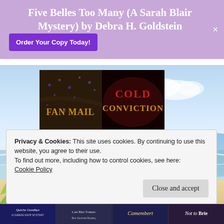Five Belles Too Many (A Sarah Blair Mystery) by Debra H. Goldstein
Order Your Copy Today!
[Figure (illustration): Book cover: FAN MAIL — dark background with scattered blue/purple gravel or confetti, gold text 'FAN MAIL' on dark dramatic background]
[Figure (illustration): Book cover: COLD CONVICTION — dark red/black background, red and gold text reading 'COLD CONVICTION']
[Figure (illustration): Book cover: GIRL ON THE RUN — dark background with silhouette of a girl through shattered glass, gold title text 'GIRL ON THE RUN']
[Figure (illustration): Background beach scene with palm leaves, sand, and ocean/sky]
Privacy & Cookies: This site uses cookies. By continuing to use this website, you agree to their use.
To find out more, including how to control cookies, see here:
Cookie Policy
Close and accept
[Figure (illustration): Bottom strip showing four book covers: Quiche Goodbye (A Cheese Shop Mystery), another book, Camembert, Not to Brie]